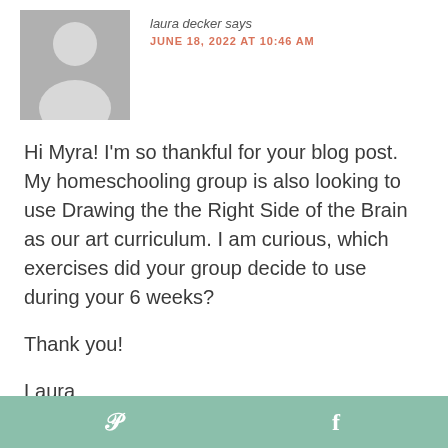[Figure (photo): Grey placeholder avatar icon with silhouette of a person, head and shoulders]
laura decker says
JUNE 18, 2022 AT 10:46 AM
Hi Myra! I'm so thankful for your blog post. My homeschooling group is also looking to use Drawing the the Right Side of the Brain as our art curriculum. I am curious, which exercises did your group decide to use during your 6 weeks?
Thank you!
Laura
[Figure (infographic): Sage green footer bar with Pinterest P icon and Facebook f icon]